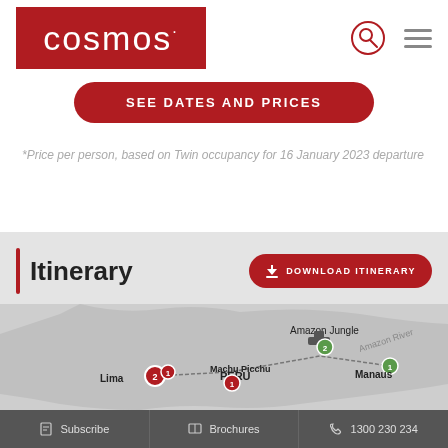Cosmos - navigation header with logo, search and menu icons
SEE DATES AND PRICES
*Price per person, based on Twin occupancy for 16 January 2023 departure
Itinerary
DOWNLOAD ITINERARY
[Figure (map): Map of Peru showing itinerary route with stops at Lima (2 nights), Machu Picchu (1 night), Amazon Jungle (2 nights), Manaus (1 night), along Amazon River]
Subscribe  |  Brochures  |  1300 230 234